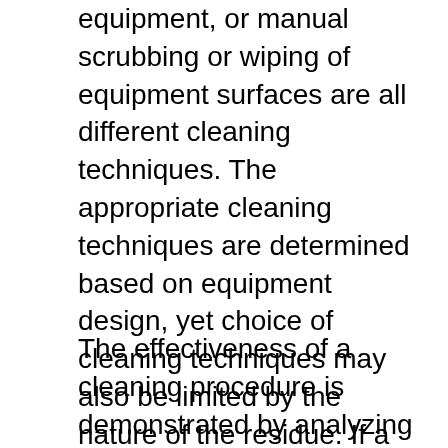equipment, or manual scrubbing or wiping of equipment surfaces are all different cleaning techniques. The appropriate cleaning techniques are determined based on equipment design, yet choice of cleaning techniques may also be limited by the nature of the residue. If a residue (e.g. certain polymers) is not soluble in any known solvent, the choice of cleaning technique is limited to those that rely heavily on mechanical force such as manual scrubbing/wiping or impingement by a high-pressure liquid stream.
The effectiveness of a cleaning procedure is demonstrated by analyzing rinse and swab samples taken from equipment. In order to